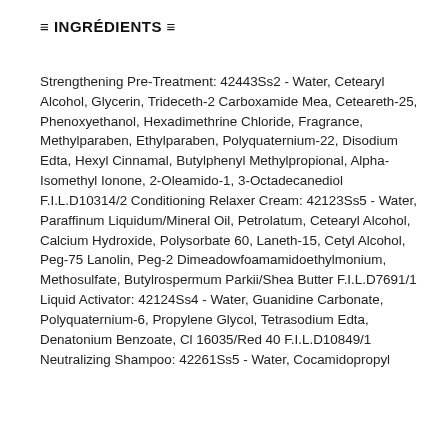≡ INGRÉDIENTS ≡
Strengthening Pre-Treatment: 42443Ss2 - Water, Cetearyl Alcohol, Glycerin, Trideceth-2 Carboxamide Mea, Ceteareth-25, Phenoxyethanol, Hexadimethrine Chloride, Fragrance, Methylparaben, Ethylparaben, Polyquaternium-22, Disodium Edta, Hexyl Cinnamal, Butylphenyl Methylpropional, Alpha-Isomethyl Ionone, 2-Oleamido-1, 3-Octadecanediol F.I.L.D10314/2 Conditioning Relaxer Cream: 42123Ss5 - Water, Paraffinum Liquidum/Mineral Oil, Petrolatum, Cetearyl Alcohol, Calcium Hydroxide, Polysorbate 60, Laneth-15, Cetyl Alcohol, Peg-75 Lanolin, Peg-2 Dimeadowfoamamidoethylmonium, Methosulfate, Butylrospermum Parkii/Shea Butter F.I.L.D7691/1 Liquid Activator: 42124Ss4 - Water, Guanidine Carbonate, Polyquaternium-6, Propylene Glycol, Tetrasodium Edta, Denatonium Benzoate, Cl 16035/Red 40 F.I.L.D10849/1 Neutralizing Shampoo: 42261Ss5 - Water, Cocamidopropyl